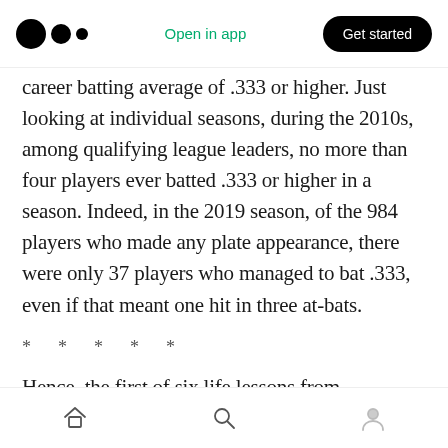Medium logo | Open in app | Get started
career batting average of .333 or higher. Just looking at individual seasons, during the 2010s, among qualifying league leaders, no more than four players ever batted .333 or higher in a season. Indeed, in the 2019 season, of the 984 players who made any plate appearance, there were only 37 players who managed to bat .333, even if that meant one hit in three at-bats.
* * * * *
Hence, the first of six life lessons from baseball….
Home | Search | Profile